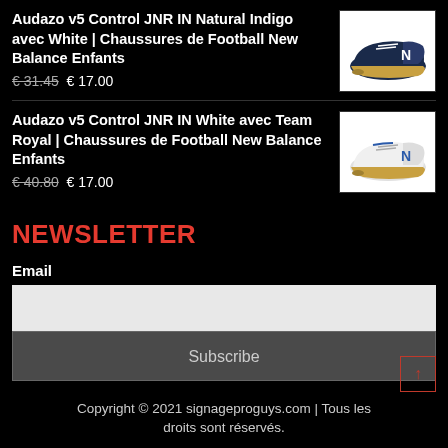Audazo v5 Control JNR IN Natural Indigo avec White | Chaussures de Football New Balance Enfants
€ 31.45 € 17.00
[Figure (photo): New Balance football shoe in navy blue and white with gum sole, viewed from side angle]
Audazo v5 Control JNR IN White avec Team Royal | Chaussures de Football New Balance Enfants
€ 40.80 € 17.00
[Figure (photo): New Balance football shoe in white with blue details and gum sole, viewed from side angle]
NEWSLETTER
Email
Subscribe
Copyright © 2021 signageproguys.com | Tous les droits sont réservés.